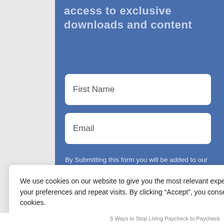access to exclusive downloads and content
First Name
Email
By Submitting this form you will be added to our newsletter. You can unsubscribe anytime.
We use cookies on our website to give you the most relevant experience by remembering your preferences and repeat visits. By clicking “Accept”, you consent to the use of ALL the cookies.
Thank you for visiting. You can now buy me a coffee!
5 Ways to Stop Living Paycheck to Paycheck